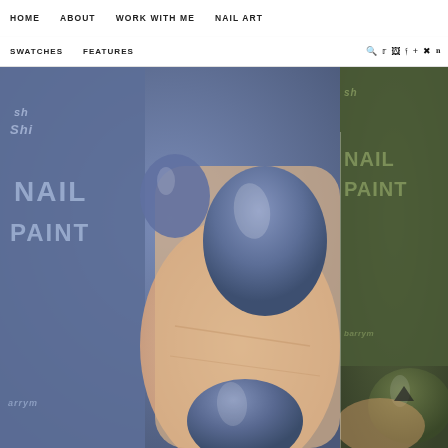HOME   ABOUT   WORK WITH ME   NAIL ART
SWATCHES   FEATURES   [search] [twitter] [instagram] [facebook] [plus] [pinterest] [tumblr]
[Figure (photo): Close-up photo of hand with dark blue/slate nail polish, Barry M Nail Paint bottle in blue on left, second nail polish bottle in olive green on right side]